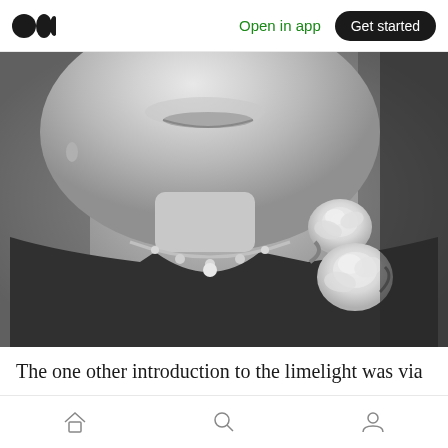Medium app header — Open in app | Get started
[Figure (photo): Black and white close-up photograph of an elderly woman smiling, wearing a necklace and a corsage of white roses on her dark jacket, cropped from chin/mouth area down to chest.]
The one other introduction to the limelight was via his aunt, Josephine Hull -who appeared with Cary Grant in Arsenic and Old Lace as one of
Bottom navigation bar with home, search, and profile icons